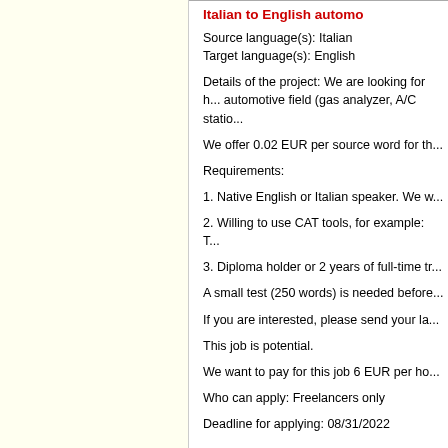Italian to English automo...
Source language(s): Italian
Target language(s): English
Details of the project: We are looking for h... automotive field (gas analyzer, A/C statio...
We offer 0.02 EUR per source word for th...
Requirements:
1. Native English or Italian speaker. We w...
2. Willing to use CAT tools, for example: T...
3. Diploma holder or 2 years of full-time tr...
A small test (250 words) is needed before...
If you are interested, please send your la...
This job is potential.
We want to pay for this job 6 EUR per ho...
Who can apply: Freelancers only
Deadline for applying: 08/31/2022